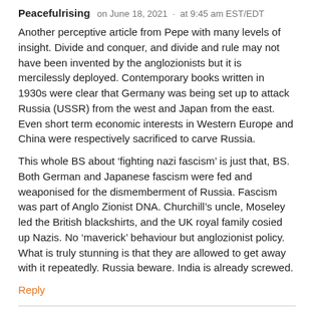Peacefulrising   on June 18, 2021  ·  at 9:45 am EST/EDT
Another perceptive article from Pepe with many levels of insight. Divide and conquer, and divide and rule may not have been invented by the anglozionists but it is mercilessly deployed. Contemporary books written in 1930s were clear that Germany was being set up to attack Russia (USSR) from the west and Japan from the east. Even short term economic interests in Western Europe and China were respectively sacrificed to carve Russia.
This whole BS about ‘fighting nazi fascism’ is just that, BS. Both German and Japanese fascism were fed and weaponised for the dismemberment of Russia. Fascism was part of Anglo Zionist DNA. Churchill’s uncle, Moseley led the British blackshirts, and the UK royal family cosied up Nazis. No ‘maverick’ behaviour but anglozionist policy. What is truly stunning is that they are allowed to get away with it repeatedly. Russia beware. India is already screwed.
Reply
Christian J. Chuba   on June 18, 2021  ·  at 10:01 am EST/EDT